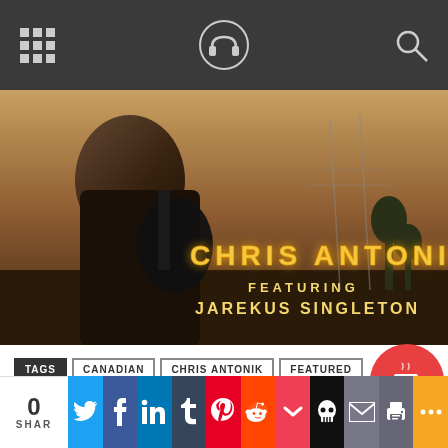Navigation bar with grid menu icon, site logo (headphones), and search icon
[Figure (photo): Photo of a person playing an electric guitar outdoors at dusk with text overlay reading CHRIS ANTONIK FEATURING JAREKUS SINGLETON in glowing neon-style lettering]
TAGS: CANADIAN | CHRIS ANTONIK | FEATURED | SPONSORED
[Figure (illustration): Red circular Buy Me a Coffee button with coffee cup icon]
0 SHAR | Twitter | Facebook | LinkedIn | Tumblr | Pinterest | Reddit | Pocket | Skull | Email | Print | More share buttons